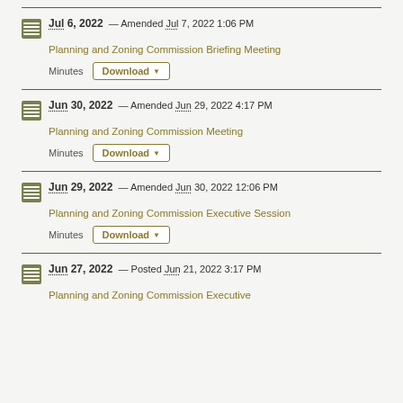Jul 6, 2022 — Amended Jul 7, 2022 1:06 PM
Planning and Zoning Commission Briefing Meeting
Minutes [Download]
Jun 30, 2022 — Amended Jun 29, 2022 4:17 PM
Planning and Zoning Commission Meeting
Minutes [Download]
Jun 29, 2022 — Amended Jun 30, 2022 12:06 PM
Planning and Zoning Commission Executive Session
Minutes [Download]
Jun 27, 2022 — Posted Jun 21, 2022 3:17 PM
Planning and Zoning Commission Executive